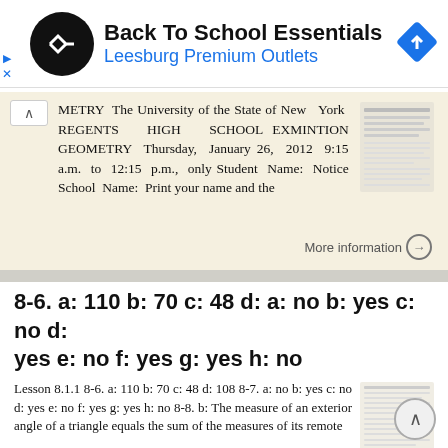[Figure (logo): Back To School Essentials ad banner with Leesburg Premium Outlets logo and navigation arrow icon]
METRY The University of the State of New York REGENTS HIGH SCHOOL EXMINTION GEOMETRY Thursday, January 26, 2012 9:15 a.m. to 12:15 p.m., only Student Name: Notice School Name: Print your name and the
More information →
8-6. a: 110 b: 70 c: 48 d: a: no b: yes c: no d: yes e: no f: yes g: yes h: no
Lesson 8.1.1 8-6. a: 110 b: 70 c: 48 d: 108 8-7. a: no b: yes c: no d: yes e: no f: yes g: yes h: no 8-8. b: The measure of an exterior angle of a triangle equals the sum of the measures of its remote